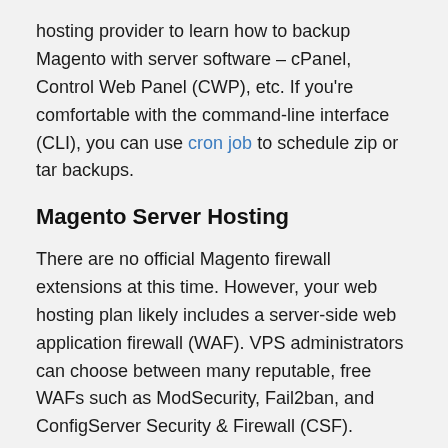hosting provider to learn how to backup Magento with server software – cPanel, Control Web Panel (CWP), etc. If you're comfortable with the command-line interface (CLI), you can use cron job to schedule zip or tar backups.
Magento Server Hosting
There are no official Magento firewall extensions at this time. However, your web hosting plan likely includes a server-side web application firewall (WAF). VPS administrators can choose between many reputable, free WAFs such as ModSecurity, Fail2ban, and ConfigServer Security & Firewall (CSF).
Magento works best on VPS or dedicated